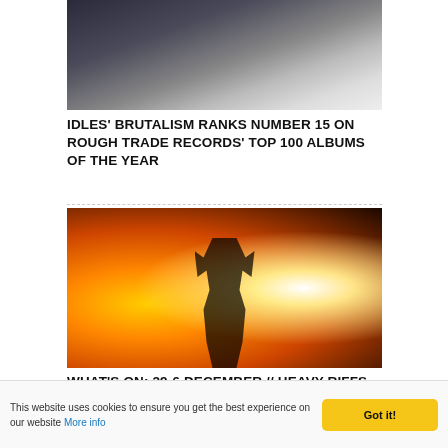[Figure (photo): Partial photo of a performer, cropped at top of page, dark tones with light background]
IDLES' BRUTALISM RANKS NUMBER 15 ON ROUGH TRADE RECORDS' TOP 100 ALBUMS OF THE YEAR
[Figure (photo): Concert photo of a performer on stage with dramatic orange and yellow lighting, arms raised, wearing a cap]
WHAT'S ON: 29-6 DECEMBER // HEAVY RIFFS, A 16-PIECE ORCHESTRA PLAYING DESTINY'S CHILD & A DECENT DOSE OF UK
This website uses cookies to ensure you get the best experience on our website More info
Got it!